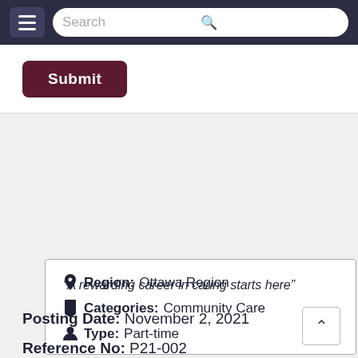Search
Submit
Region: Ottawa Region
Categories: Community Care
Type: Part-time
“A rewarding career in caring starts here”
Posting Date: November 2, 2021
Reference No: P21-002